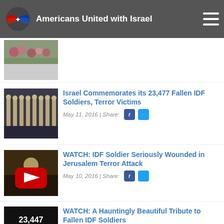Americans United with Israel
[Figure (photo): Partial article thumbnail showing flowers]
[Figure (photo): IDF soldiers in uniform standing in formation]
Israel Commemorates its 23,477 Fallen IDF Soldiers, Terror Victims
May 11, 2016 | Share:
[Figure (screenshot): YouTube video thumbnail for IDF soldier wounded in Jerusalem terror attack]
WATCH: IDF Soldier Seriously Wounded in Jerusalem Terror Attack
May 10, 2016 | Share:
[Figure (screenshot): YouTube video thumbnail showing 23,447 with fire and YouTube play button]
WATCH: A Hauntingly Beautiful Tribute to Fallen IDF Soldiers
May 10, 2016 | Share: